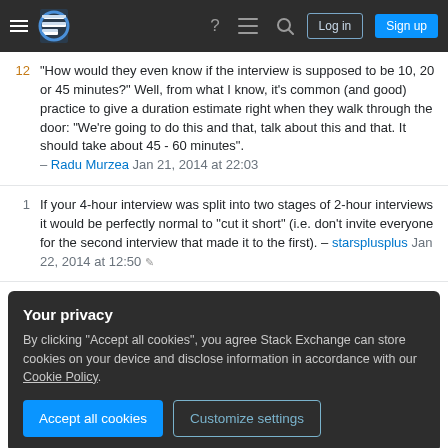Stack Exchange navigation bar with Log in and Sign up buttons
"How would they even know if the interview is supposed to be 10, 20 or 45 minutes?" Well, from what I know, it's common (and good) practice to give a duration estimate right when they walk through the door: "We're going to do this and that, talk about this and that. It should take about 45 - 60 minutes". – Radu Murzea Jan 21, 2014 at 22:03
If your 4-hour interview was split into two stages of 2-hour interviews it would be perfectly normal to "cut it short" (i.e. don't invite everyone for the second interview that made it to the first). – starsplusplus Jan 22, 2014 at 12:50
Your privacy
By clicking "Accept all cookies", you agree Stack Exchange can store cookies on your device and disclose information in accordance with our Cookie Policy.
Accept all cookies
Customize settings